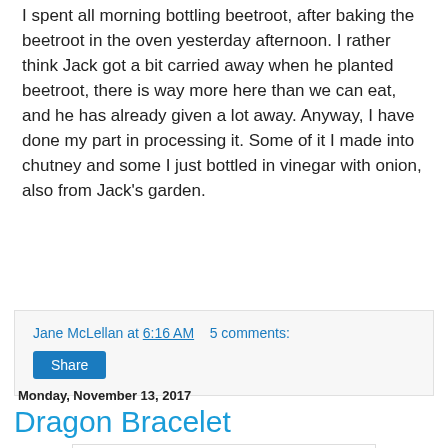I spent all morning bottling beetroot, after baking the beetroot in the oven yesterday afternoon. I rather think Jack got a bit carried away when he planted beetroot, there is way more here than we can eat, and he has already given a lot away. Anyway, I have done my part in processing it. Some of it I made into chutney and some I just bottled in vinegar with onion, also from Jack's garden.
Jane McLellan at 6:16 AM   5 comments:
Share
Monday, November 13, 2017
Dragon Bracelet
[Figure (photo): Photo of a beaded dragon bracelet with purple and white/cream beads arranged in a wavy dragon-scale pattern, placed on a wooden surface.]